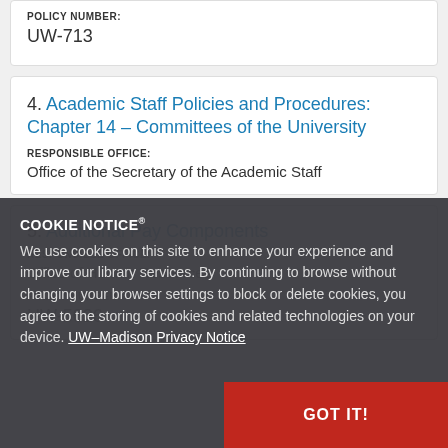POLICY NUMBER:
UW-713
4. Academic Staff Policies and Procedures: Chapter 14 – Committees of the University
RESPONSIBLE OFFICE:
Office of the Secretary of the Academic Staff
5. Additional Pay Components
RESPONSIBLE OFFICE:
Office of Human Resources
POLICY NUMBER:
UW-5026
COOKIE NOTICE
We use cookies on this site to enhance your experience and improve our library services. By continuing to browse without changing your browser settings to block or delete cookies, you agree to the storing of cookies and related technologies on your device. UW–Madison Privacy Notice
GOT IT!